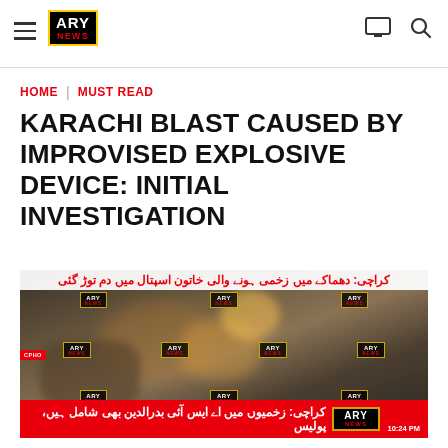ARY NEWS
HOME | MUST READ
KARACHI BLAST CAUSED BY IMPROVISED EXPLOSIVE DEVICE: INITIAL INVESTIGATION
[Figure (screenshot): ARY News video screenshot showing blast footage with Urdu headline ticker at top and bottom. Top Urdu text reads: کراچی: دھماکے میں زخمی ہونے والی خاتون اسپتال میں دم توڑ گئی. Bottom red ticker reads: کراچی: زخمیوں میں اے ایس آئی بدرالدین بھی شامل ہیں، پولیس. ARY News logo and time 10:24 PM shown in bottom corner.]